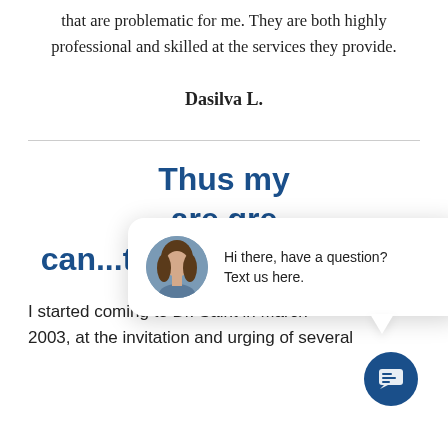that are problematic for me. They are both highly professional and skilled at the services they provide.
Dasilva L.
Thus my... are gr... can...tive my life again...
[Figure (screenshot): Chat popup overlay with woman's avatar photo and text: Hi there, have a question? Text us here. Below is a circular blue chat icon button.]
I started coming to Dr. Saint in March 2003, at the invitation and urging of several